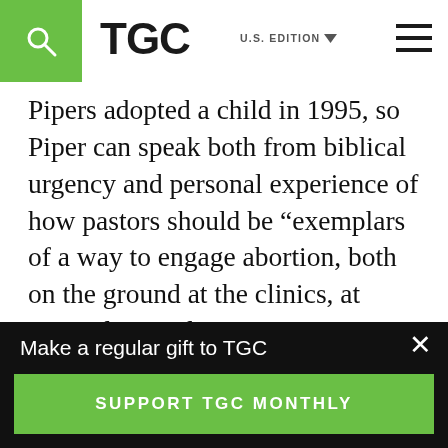TGC U.S. EDITION
Pipers adopted a child in 1995, so Piper can speak both from biblical urgency and personal experience of how pastors should be “exemplars of a way to engage abortion, both on the ground at the clinics, at counseling and intervention situations, and in the pulpit.”

Many pastors who are exemplars and preach a gospel of grace find post-abortive women thanking them. Pastors need not and should
Make a regular gift to TGC
SUPPORT TGC MONTHLY